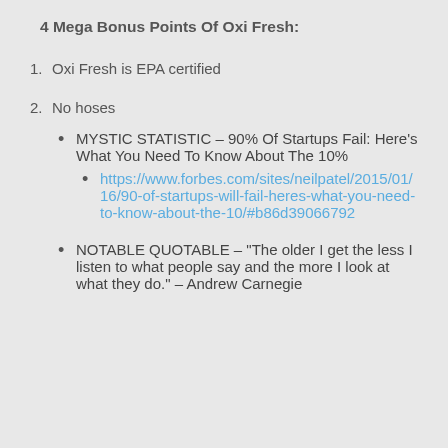4 Mega Bonus Points Of Oxi Fresh:
1. Oxi Fresh is EPA certified
2. No hoses
MYSTIC STATISTIC – 90% Of Startups Fail: Here’s What You Need To Know About The 10%
https://www.forbes.com/sites/neilpatel/2015/01/16/90-of-startups-will-fail-heres-what-you-need-to-know-about-the-10/#b86d39066792
NOTABLE QUOTABLE – “The older I get the less I listen to what people say and the more I look at what they do.” – Andrew Carnegie